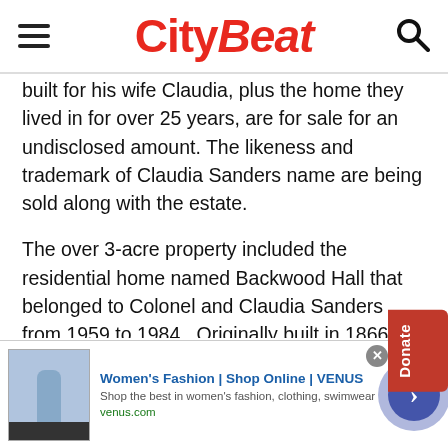CityBeat
built for his wife Claudia, plus the home they lived in for over 25 years, are for sale for an undisclosed amount. The likeness and trademark of Claudia Sanders name are being sold along with the estate.
The over 3-acre property included the residential home named Backwood Hall that belonged to Colonel and Claudia Sanders from 1959 to 1984.  Originally built in 1866, Backwood Hall is full of hidden treasures and memorabilia from the Colonel, including a letter from former President Nixon to Sanders, Colonel Sanders original Kentucky Colonel certificate plus items like
[Figure (other): Advertisement banner: Women's Fashion | Shop Online | VENUS. Shop the best in women's fashion, clothing, swimwear. venus.com]